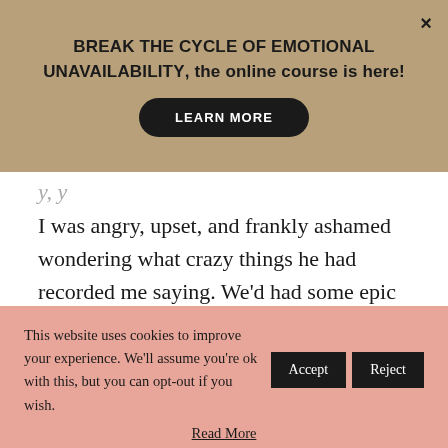BREAK THE CYCLE OF EMOTIONAL UNAVAILABILITY, the online course is here!
LEARN MORE
I was angry, upset, and frankly ashamed wondering what crazy things he had recorded me saying. We'd had some epic arguments where I probably sounded like a psycho, and I am pretty sure he
This website uses cookies to improve your experience. We'll assume you're ok with this, but you can opt-out if you wish.
Accept
Reject
Read More